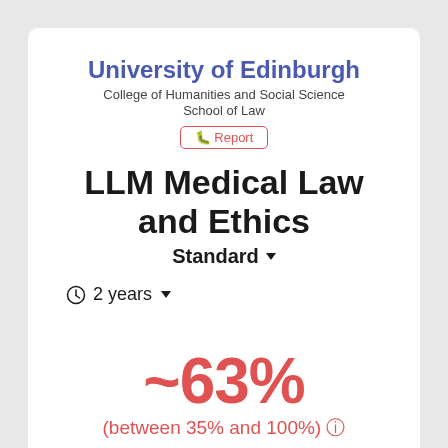University of Edinburgh
College of Humanities and Social Science
School of Law
🐞 Report
LLM Medical Law and Ethics
Standard ▾
⏱ 2 years ▾
~63%
(between 35% and 100%) ⓘ